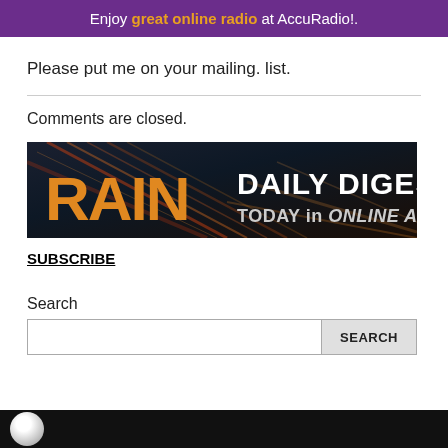Enjoy great online radio at AccuRadio!.
Please put me on your mailing. list.
Comments are closed.
[Figure (illustration): RAIN Daily Digest - TODAY in ONLINE AUDIO banner advertisement with orange text on dark background with diagonal speed lines]
SUBSCRIBE
Search
[Figure (other): Bottom partial image showing a white circular logo on black background]